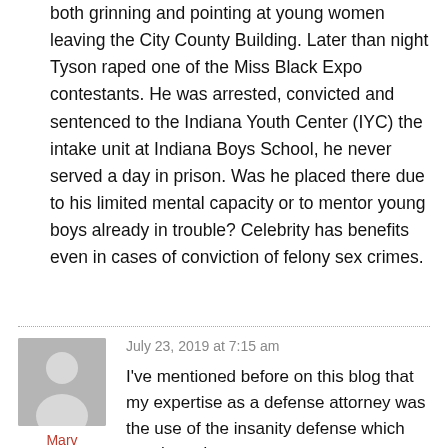both grinning and pointing at young women leaving the City County Building. Later than night Tyson raped one of the Miss Black Expo contestants. He was arrested, convicted and sentenced to the Indiana Youth Center (IYC) the intake unit at Indiana Boys School, he never served a day in prison. Was he placed there due to his limited mental capacity or to mentor young boys already in trouble? Celebrity has benefits even in cases of conviction of felony sex crimes.
[Figure (illustration): Gray avatar silhouette representing a user profile photo]
Marv
July 23, 2019 at 7:15 am
I've mentioned before on this blog that my expertise as a defense attorney was the use of the insanity defense which was based on